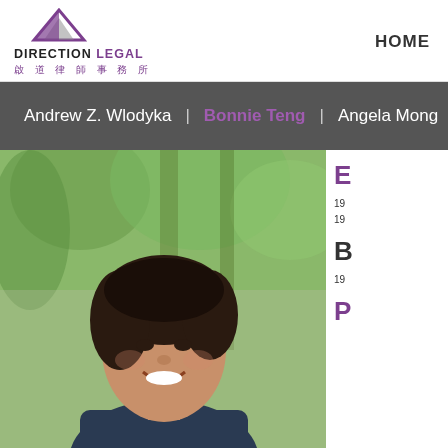[Figure (logo): Direction Legal logo with purple triangle icon and Chinese characters 啟道律師事務所]
HOME
Andrew Z. Wlodyka  |  Bonnie Teng  |  Angela Mong
[Figure (photo): Professional headshot of a woman with short dark hair, smiling, wearing a dark jacket, with green trees in background]
E
19
19
B
19
P